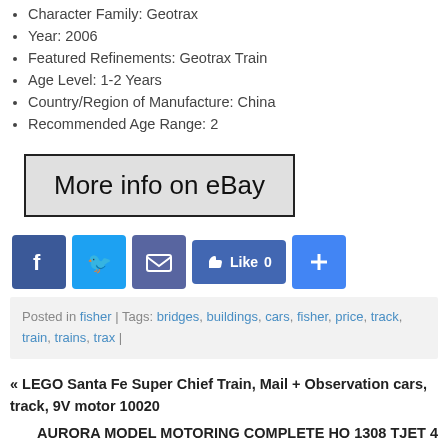Character Family: Geotrax
Year: 2006
Featured Refinements: Geotrax Train
Age Level: 1-2 Years
Country/Region of Manufacture: China
Recommended Age Range: 2
[Figure (other): More info on eBay button with gray background and black border]
[Figure (other): Social sharing bar with Facebook, Twitter, Email, Like, and Plus buttons]
Posted in fisher | Tags: bridges, buildings, cars, fisher, price, track, train, trains, trax |
« LEGO Santa Fe Super Chief Train, Mail + Observation cars, track, 9V motor 10020
AURORA MODEL MOTORING COMPLETE HO 1308 TJET 4 LANE Slot Car Race Track Set 4 Car »